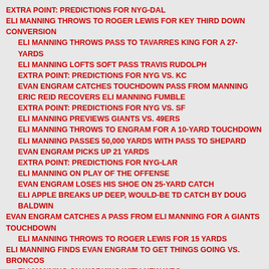EXTRA POINT: PREDICTIONS FOR NYG-DAL
ELI MANNING THROWS TO ROGER LEWIS FOR KEY THIRD DOWN CONVERSION
ELI MANNING THROWS PASS TO TAVARRES KING FOR A 27-YARDS
ELI MANNING LOFTS SOFT PASS TRAVIS RUDOLPH
EXTRA POINT: PREDICTIONS FOR NYG VS. KC
EVAN ENGRAM CATCHES TOUCHDOWN PASS FROM MANNING
ERIC REID RECOVERS ELI MANNING FUMBLE
EXTRA POINT: PREDICTIONS FOR NYG VS. SF
ELI MANNING PREVIEWS GIANTS VS. 49ERS
ELI MANNING THROWS TO ENGRAM FOR A 10-YARD TOUCHDOWN
ELI MANNING PASSES 50,000 YARDS WITH PASS TO SHEPARD
EVAN ENGRAM PICKS UP 21 YARDS
EXTRA POINT: PREDICTIONS FOR NYG-LAR
ELI MANNING ON PLAY OF THE OFFENSE
EVAN ENGRAM LOSES HIS SHOE ON 25-YARD CATCH
ELI APPLE BREAKS UP DEEP, WOULD-BE TD CATCH BY DOUG BALDWIN
EVAN ENGRAM CATCHES A PASS FROM ELI MANNING FOR A GIANTS TOUCHDOWN
ELI MANNING THROWS TO ROGER LEWIS FOR 15 YARDS
ELI MANNING FINDS EVAN ENGRAM TO GET THINGS GOING VS. BRONCOS
ELI MANNING ON WORKING WITH NEW WRS